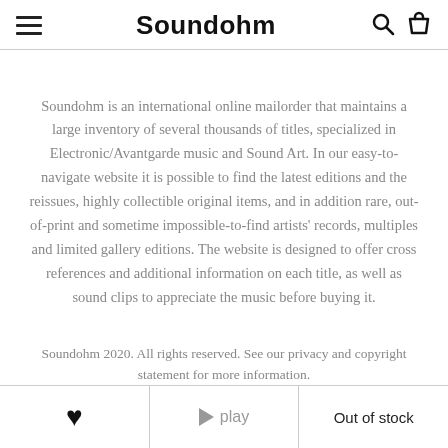Soundohm
Soundohm is an international online mailorder that maintains a large inventory of several thousands of titles, specialized in Electronic/Avantgarde music and Sound Art. In our easy-to-navigate website it is possible to find the latest editions and the reissues, highly collectible original items, and in addition rare, out-of-print and sometime impossible-to-find artists' records, multiples and limited gallery editions. The website is designed to offer cross references and additional information on each title, as well as sound clips to appreciate the music before buying it.
Soundohm 2020. All rights reserved. See our privacy and copyright statement for more information.
❤  play  Out of stock